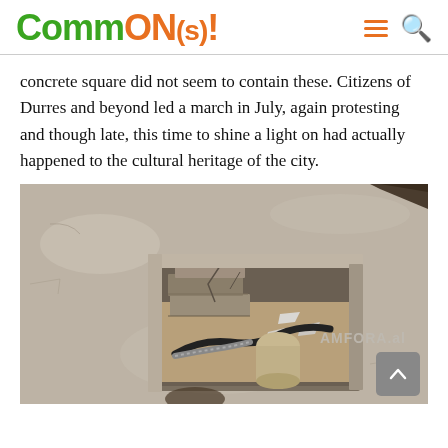CommON(s)!
concrete square did not seem to contain these. Citizens of Durres and beyond led a march in July, again protesting and though late, this time to shine a light on had actually happened to the cultural heritage of the city.
[Figure (photo): Close-up photograph of a square hole in a concrete pavement, revealing rubble, broken stone blocks, and black cables/pipes inside. A foot is partially visible at the bottom. Watermark reads 'AMFORA.al'.]